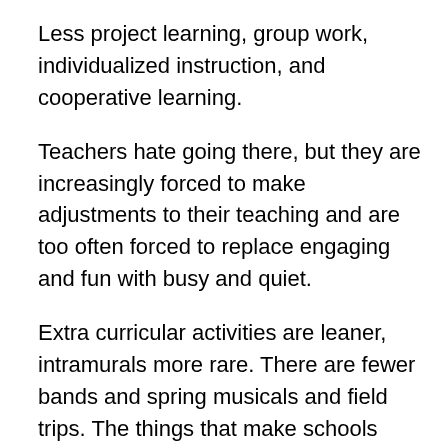Less project learning, group work, individualized instruction, and cooperative learning.
Teachers hate going there, but they are increasingly forced to make adjustments to their teaching and are too often forced to replace engaging and fun with busy and quiet.
Extra curricular activities are leaner, intramurals more rare. There are fewer bands and spring musicals and field trips. The things that make schools meaningful for kids are difficult to sponsor as teaching loads burgeon and disrespect for the profession increases relentlessly.
But the biggest difficulty in public education is that many of us, including our government, no longer consider teaching a profession. Rather they think of it as a job, like working